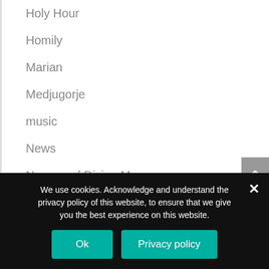Holy Hour
Homily
Marian
Medjugorje
music
News
Novena of Divine Mercy
Others
Pastor Corner
Photos
We use cookies. Acknowledge and understand the privacy policy of this website, to ensure that we give you the best experience on this website.